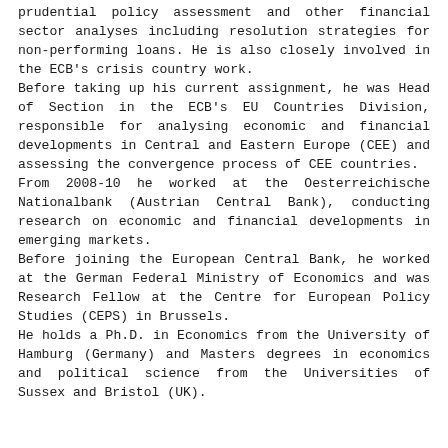prudential policy assessment and other financial sector analyses including resolution strategies for non-performing loans. He is also closely involved in the ECB's crisis country work.
Before taking up his current assignment, he was Head of Section in the ECB's EU Countries Division, responsible for analysing economic and financial developments in Central and Eastern Europe (CEE) and assessing the convergence process of CEE countries.
From 2008-10 he worked at the Oesterreichische Nationalbank (Austrian Central Bank), conducting research on economic and financial developments in emerging markets.
Before joining the European Central Bank, he worked at the German Federal Ministry of Economics and was Research Fellow at the Centre for European Policy Studies (CEPS) in Brussels.
He holds a Ph.D. in Economics from the University of Hamburg (Germany) and Masters degrees in economics and political science from the Universities of Sussex and Bristol (UK).